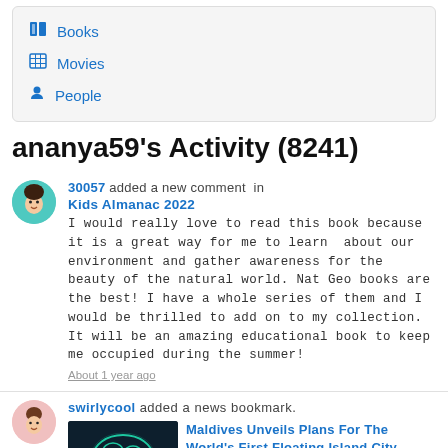Books
Movies
People
ananya59's Activity (8241)
30057 added a new comment in Kids Almanac 2022
I would really love to read this book because it is a great way for me to learn about our environment and gather awareness for the beauty of the natural world. Nat Geo books are the best! I have a whole series of them and I would be thrilled to add on to my collection. It will be an amazing educational book to keep me occupied during the summer!
About 1 year ago
swirlycool added a news bookmark. Maldives Unveils Plans For The World's First Floating Island City